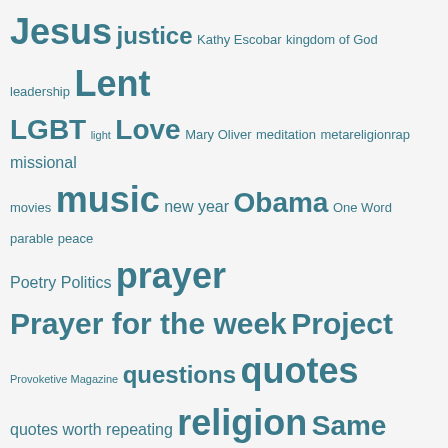Jesus justice Kathy Escobar kingdom of God leadership Lent LGBT light Love Mary Oliver meditation metareligionrap missional movies music new year Obama One Word parable peace Poetry Politics prayer Prayer for the week Project Provoketive Magazine questions quotes quotes worth repeating religion Same Sex Marriage Scripture spiritual Story suffering synchroblog thankful Tony Jones truth Twitter video wilderness women
DELICIOUS
Privacy & Cookies: This site uses cookies. By continuing to use this website, you agree to their use.
To find out more, including how to control cookies, see here: Cookie Policy
Close and accept